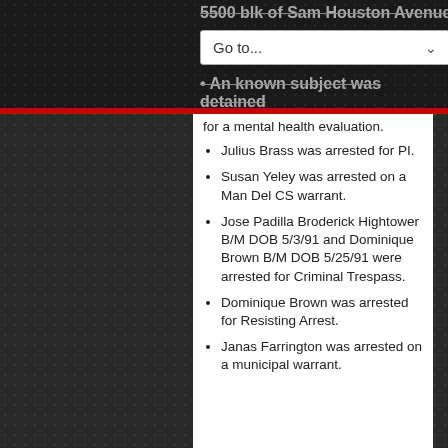for a mental health evaluation.
Julius Brass was arrested for PI.
Susan Yeley was arrested on a Man Del CS warrant.
Jose Padilla Broderick Hightower B/M DOB 5/3/91 and Dominique Brown B/M DOB 5/25/91 were arrested for Criminal Trespass.
Dominique Brown was arrested for Resisting Arrest.
Janas Farrington was arrested on a municipal warrant.